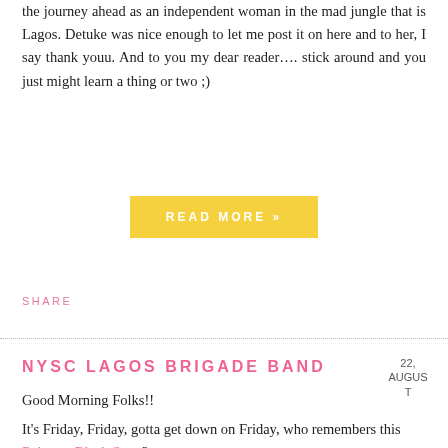the journey ahead as an independent woman in the mad jungle that is Lagos. Detuke was nice enough to let me post it on here and to her, I say thank youu. And to you my dear reader…. stick around and you just might learn a thing or two ;)
READ MORE »
SHARE
NYSC LAGOS BRIGADE BAND
22, AUGUST
Good Morning Folks!!
It's Friday, Friday, gotta get down on Friday, who remembers this Rebecca Black Song?